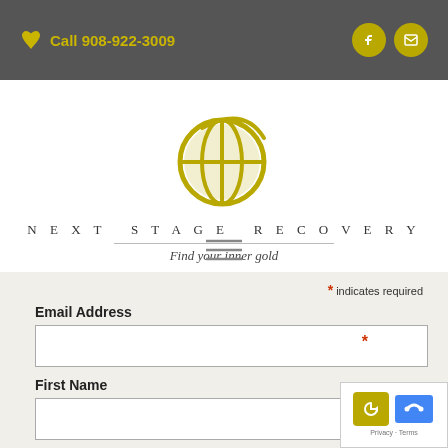Call 908-922-3009
[Figure (logo): Next Stage Recovery logo — golden globe/compass symbol with stylized crescent, text 'NEXT STAGE RECOVERY' and tagline 'Find your inner gold']
[Figure (other): Hamburger menu icon — three horizontal lines]
* indicates required
Email Address
First Name